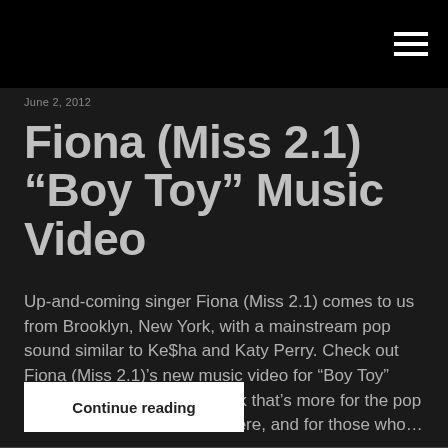June 2, 2012
Fiona (Miss 2.1) “Boy Toy” Music Video
Up-and-coming singer Fiona (Miss 2.1) comes to us from Brooklyn, New York, with a mainstream pop sound similar to Ke$ha and Katy Perry. Check out Fiona (Miss 2.1)’s new music video for “Boy Toy” below. This is definitely a pick that’s more for the pop and dance music fans out there, and for those who…
Continue reading